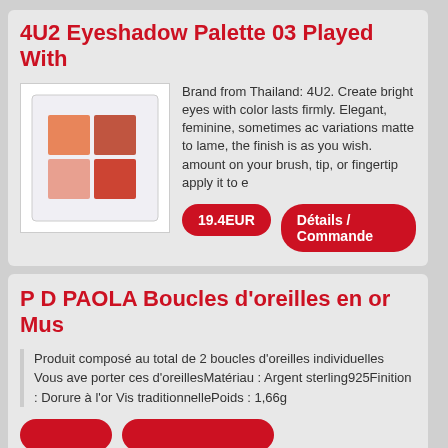4U2 Eyeshadow Palette 03 Played With
[Figure (photo): Eyeshadow palette with four color squares: top-left orange, top-right terracotta, bottom-left pink, bottom-right red-orange]
Brand from Thailand: 4U2. Create bright eyes with color lasts firmly. Elegant, feminine, sometimes ad variations matte to lame, the finish is as you wish. amount on your brush, tip, or fingertip apply it to e
19.4EUR
Détails / Commande
P D PAOLA Boucles d’oreilles en or Mus
Produit composé au total de 2 boucles d’oreilles individuelles Vous ave porter ces d’oreillesMatériau : Argent sterling925Finition : Dorure à l’or Vis traditionnellePoids : 1,66g